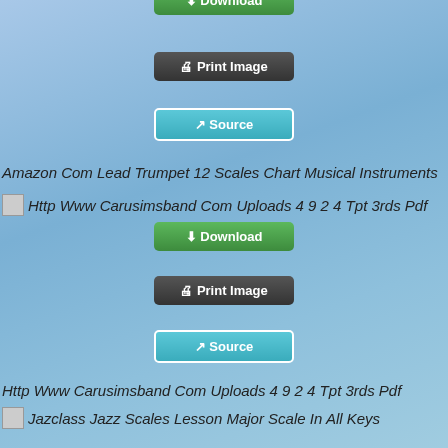[Figure (screenshot): Green Download button (partially visible at top)]
[Figure (screenshot): Dark Print Image button]
[Figure (screenshot): Teal Source button]
Amazon Com Lead Trumpet 12 Scales Chart Musical Instruments
[Figure (screenshot): Thumbnail image placeholder: Http Www Carusimsband Com Uploads 4 9 2 4 Tpt 3rds Pdf]
[Figure (screenshot): Green Download button]
[Figure (screenshot): Dark Print Image button]
[Figure (screenshot): Teal Source button]
Http Www Carusimsband Com Uploads 4 9 2 4 Tpt 3rds Pdf
[Figure (screenshot): Thumbnail image placeholder: Jazclass Jazz Scales Lesson Major Scale In All Keys]
[Figure (screenshot): Green Download button]
[Figure (screenshot): Dark Print Image button]
[Figure (screenshot): Teal Source button (partially visible at bottom)]